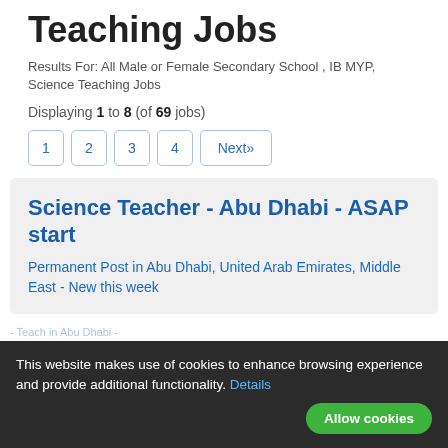Teaching Jobs
Results For: All Male or Female Secondary School , IB MYP, Science Teaching Jobs
Displaying 1 to 8 (of 69 jobs)
1
2
3
4
Next»
Science Teacher - Abu Dhabi - ASAP start
Permanent Post in Abu Dhabi, United Arab Emirates, Middle East - New this week
- Teach in Abu Dhabi -
This website makes use of cookies to enhance browsing experience and provide additional functionality. Details
Allow cookies